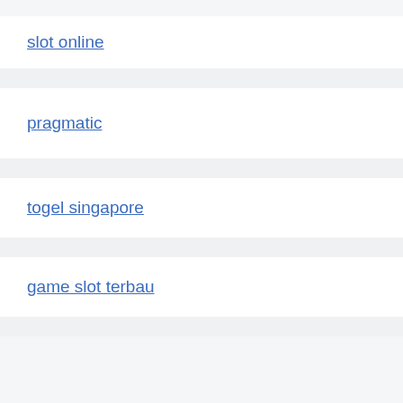slot online
pragmatic
togel singapore
game slot terbau